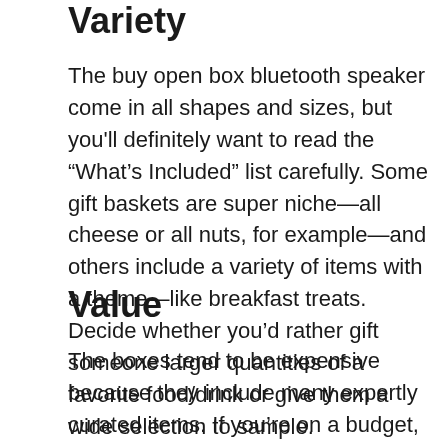Variety
The buy open box bluetooth speaker come in all shapes and sizes, but you’ll definitely want to read the “What’s Included” list carefully. Some gift baskets are super niche—all cheese or all nuts, for example—and others include a variety of items with a theme—like breakfast treats. Decide whether you’d rather gift someone larger quantities of a favorite food/drink or give them a wide selection to sample.
Value
The boxes tend to be expensive because they include many expertly curated items. If you’re on a budget, look for smaller gift